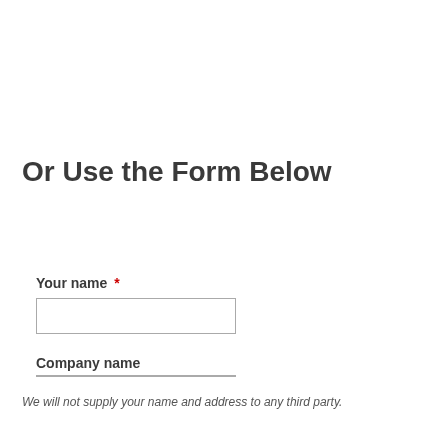Or Use the Form Below
Your name *
Company name
We will not supply your name and address to any third party.